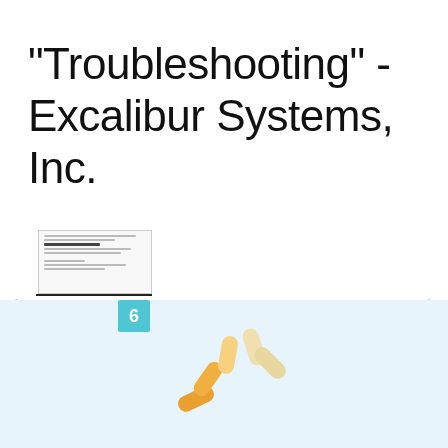"Troubleshooting" - Excalibur Systems, Inc.
[Figure (screenshot): Document carousel thumbnail showing two overlapping page previews with a page badge numbered 6, navigation arrows on left and right, and two pagination dots below]
[Figure (illustration): Loading spinner animation with orange and cream colored rounded pill shapes arranged in a fan/arc pattern on a light blue background]